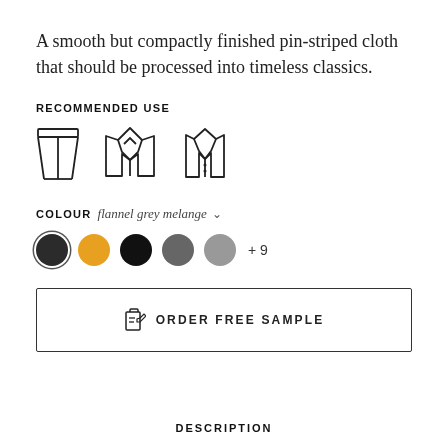A smooth but compactly finished pin-striped cloth that should be processed into timeless classics.
RECOMMENDED USE
[Figure (illustration): Three clothing icons: trousers, suit jacket, and vest/waistcoat]
COLOUR flannel grey melange
[Figure (illustration): Five colour swatches: dark charcoal (selected), orange/amber, black, medium grey, light grey, with '+9' more indicator]
ORDER FREE SAMPLE
DESCRIPTION